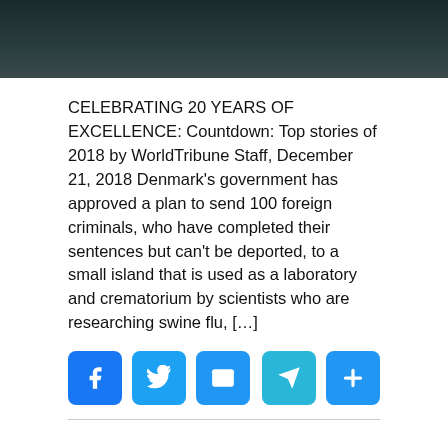[Figure (photo): Dark teal/dark background image at the top of the page]
CELEBRATING 20 YEARS OF EXCELLENCE: Countdown: Top stories of 2018 by WorldTribune Staff, December 21, 2018 Denmark's government has approved a plan to send 100 foreign criminals, who have completed their sentences but can't be deported, to a small island that is used as a laboratory and crematorium by scientists who are researching swine flu, […]
[Figure (infographic): Social sharing buttons: Facebook, Twitter, Email (left side); Telegram, Plus (right side)]
Report on Sweden's woeful border control said suppressed before